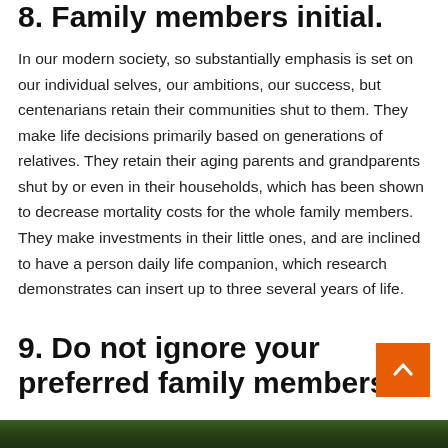8. Family members initial.
In our modern society, so substantially emphasis is set on our individual selves, our ambitions, our success, but centenarians retain their communities shut to them. They make life decisions primarily based on generations of relatives. They retain their aging parents and grandparents shut by or even in their households, which has been shown to decrease mortality costs for the whole family members. They make investments in their little ones, and are inclined to have a person daily life companion, which research demonstrates can insert up to three several years of life.
9. Do not ignore your preferred family members.
[Figure (photo): Aerial view of green tree canopy, dark forest foliage visible at bottom of page]